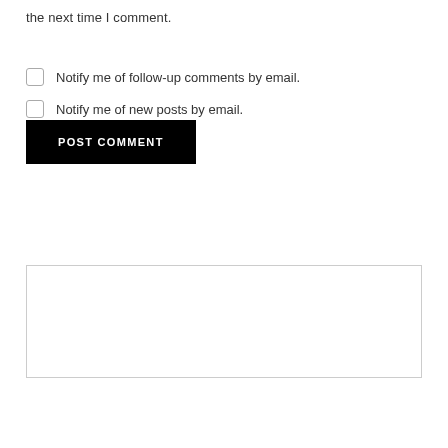the next time I comment.
Notify me of follow-up comments by email.
Notify me of new posts by email.
POST COMMENT
[Figure (other): Empty white content box with light gray border]